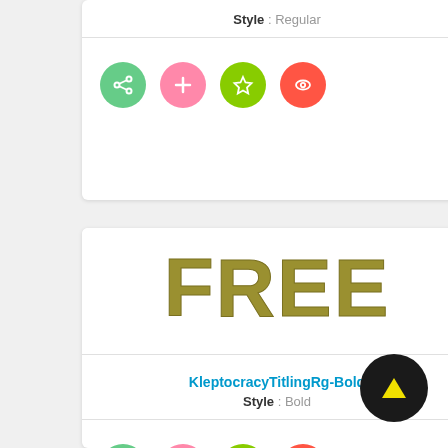Style : Regular
[Figure (screenshot): Row of four circular icon buttons: green share, pink plus, green star, red eye]
[Figure (screenshot): Font preview card showing the word FREE in a bold hatched/engraved style typeface in olive/gold color]
KleptocracyTitlingRg-Bold
Style : Bold
[Figure (screenshot): Row of four circular icon buttons: green share, pink plus, green star, red eye]
[Figure (screenshot): Black circular FAB button with yellow upward arrow]